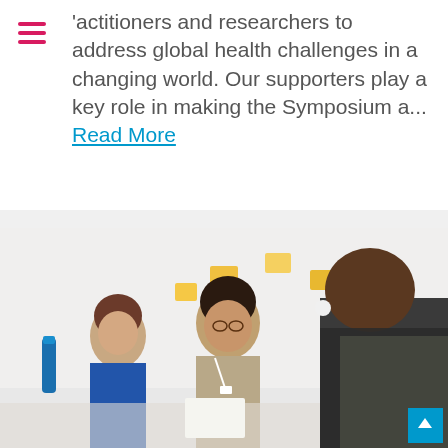actitioners and researchers to address global health challenges in a changing world. Our supporters play a key role in making the Symposium a... Read More
[Figure (photo): Conference or symposium scene showing multiple participants in a meeting room. A woman with dark curly hair wearing a beige top and lanyard is in the center foreground, listening attentively. A younger woman in a blue dress is visible to the left. A man in a dark jacket is seen from behind in the right foreground. Yellow sticky notes are visible on the wall in the background.]